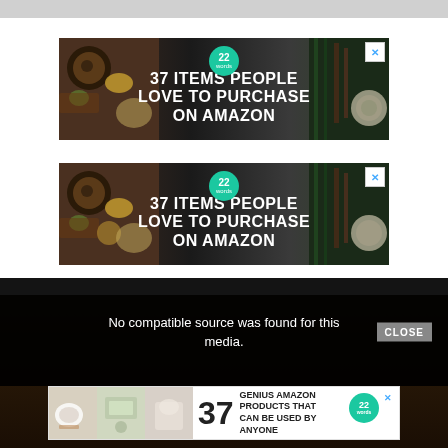[Figure (screenshot): Advertisement banner: dark background with food/knife imagery, teal badge with '22', bold white text '37 ITEMS PEOPLE LOVE TO PURCHASE ON AMAZON', with X close button]
[Figure (screenshot): Duplicate advertisement banner: same dark background with food/knife imagery, teal badge with '22', bold white text '37 ITEMS PEOPLE LOVE TO PURCHASE ON AMAZON', with X close button]
No compatible source was found for this media.
[Figure (screenshot): Bottom ad strip: small product images, large '37', text 'GENIUS AMAZON PRODUCTS THAT CAN BE USED BY ANYONE', teal '22 words' badge, X close]
[Figure (screenshot): Dark background section showing partial text 'LANDFILLS' with X overlay and subtitle 'THE PROBLEM & HOW TO TACKLE IT']